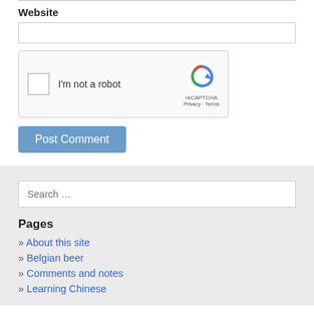Website
[Figure (screenshot): reCAPTCHA widget with checkbox labeled I'm not a robot and reCAPTCHA logo with Privacy and Terms links]
Post Comment
Search …
Pages
» About this site
» Belgian beer
» Comments and notes
» Learning Chinese